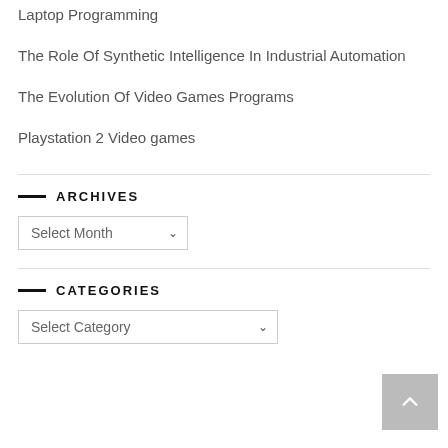Laptop Programming
The Role Of Synthetic Intelligence In Industrial Automation
The Evolution Of Video Games Programs
Playstation 2 Video games
ARCHIVES
Select Month
CATEGORIES
Select Category